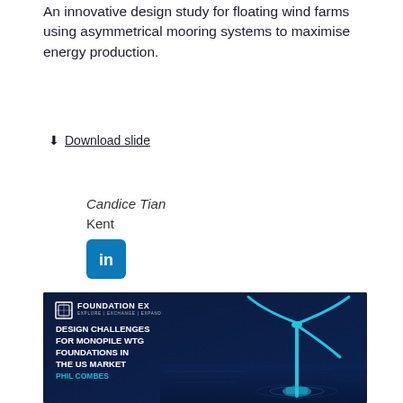An innovative design study for floating wind farms using asymmetrical mooring systems to maximise energy production.
⬇ Download slide
Candice Tian
Kent
[Figure (logo): LinkedIn button icon (blue rounded square with 'in' logo)]
[Figure (illustration): Dark navy blue slide image with Foundation Ex logo, text reading 'DESIGN CHALLENGES FOR MONOPILE WTG FOUNDATIONS IN THE US MARKET' by PHIL COMBES (in cyan), and a cyan/teal offshore wind turbine illustration on the right side against a dark ocean background.]